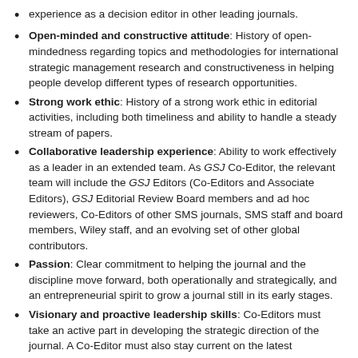experience as a decision editor in other leading journals.
Open-minded and constructive attitude: History of open-mindedness regarding topics and methodologies for international strategic management research and constructiveness in helping people develop different types of research opportunities.
Strong work ethic: History of a strong work ethic in editorial activities, including both timeliness and ability to handle a steady stream of papers.
Collaborative leadership experience: Ability to work effectively as a leader in an extended team. As GSJ Co-Editor, the relevant team will include the GSJ Editors (Co-Editors and Associate Editors), GSJ Editorial Review Board members and ad hoc reviewers, Co-Editors of other SMS journals, SMS staff and board members, Wiley staff, and an evolving set of other global contributors.
Passion: Clear commitment to helping the journal and the discipline move forward, both operationally and strategically, and an entrepreneurial spirit to grow a journal still in its early stages.
Visionary and proactive leadership skills: Co-Editors must take an active part in developing the strategic direction of the journal. A Co-Editor must also stay current on the latest guidelines, recommendations, and evidence about peer review and journal management. The journal, as an instrument of the major scholarly organization in the strategy field, must both reflect and guide the discipline. Therefore, the Co-Editor must be actively involved with decisions on journal processes, staffing, planning, and promotion and will coordinate with other SMS journals on a regular basis.
Nominations, including self-nominations, will be accepted until May 31, 2019. Nominations should include (in PDF format):